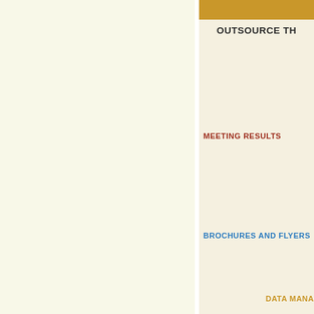OUTSOURCE TH
MEETING RESULTS
BROCHURES AND FLYERS
DATA MANA